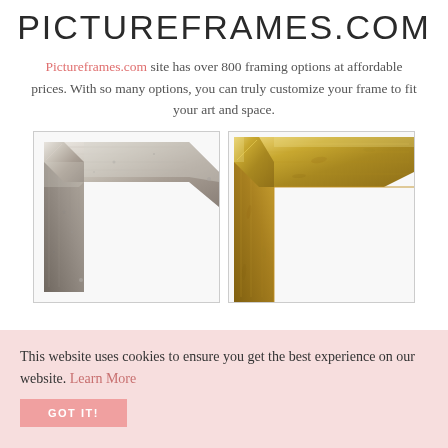PICTUREFRAMES.COM
Pictureframes.com site has over 800 framing options at affordable prices. With so many options, you can truly customize your frame to fit your art and space.
[Figure (photo): Two picture frame corner close-ups side by side: left is a silver/pewter metallic frame corner, right is a gold leaf frame corner, both shown against white backgrounds.]
This website uses cookies to ensure you get the best experience on our website. Learn More
GOT IT!